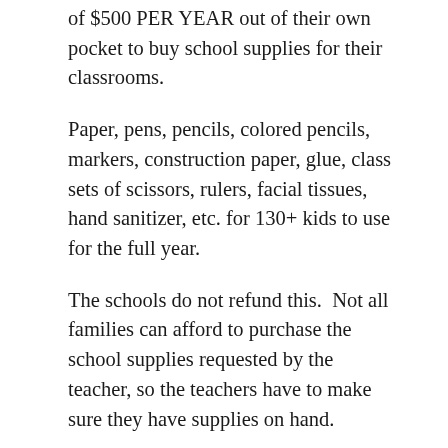of $500 PER YEAR out of their own pocket to buy school supplies for their classrooms.
Paper, pens, pencils, colored pencils, markers, construction paper, glue, class sets of scissors, rulers, facial tissues, hand sanitizer, etc. for 130+ kids to use for the full year.
The schools do not refund this.  Not all families can afford to purchase the school supplies requested by the teacher, so the teachers have to make sure they have supplies on hand.
And yes, I know that a lot of schools will be going virtual this year, but there are ALWAYS kids who do not have the same level of technological access, or the internet access, to function via virtual schooling.